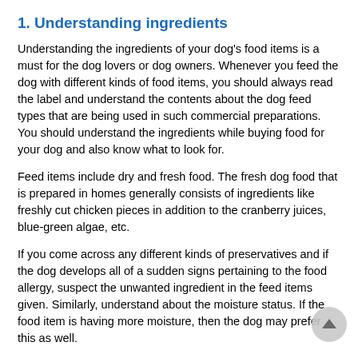1. Understanding ingredients
Understanding the ingredients of your dog's food items is a must for the dog lovers or dog owners. Whenever you feed the dog with different kinds of food items, you should always read the label and understand the contents about the dog feed types that are being used in such commercial preparations. You should understand the ingredients while buying food for your dog and also know what to look for.
Feed items include dry and fresh food. The fresh dog food that is prepared in homes generally consists of ingredients like freshly cut chicken pieces in addition to the cranberry juices, blue-green algae, etc.
If you come across any different kinds of preservatives and if the dog develops all of a sudden signs pertaining to the food allergy, suspect the unwanted ingredient in the feed items given. Similarly, understand about the moisture status. If the food item is having more moisture, then the dog may prefer this as well.
Beet pulp, pasta, Soy bean oil, wheat middlings, calcium carbonate, magnesium oxide, copper sulphate, iron sulpha zinc oxide, choline chloride, etc. are often the ingredients i case of vegetarian based diet items offered to the pet animals like dogs.